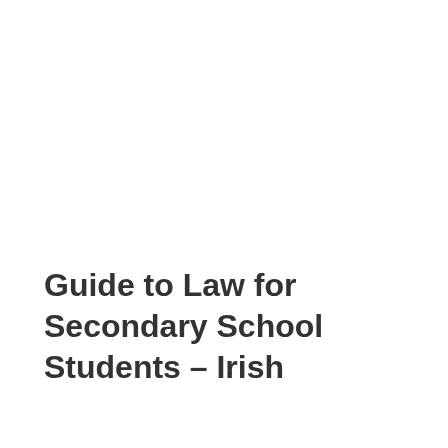Guide to Law for Secondary School Students – Irish